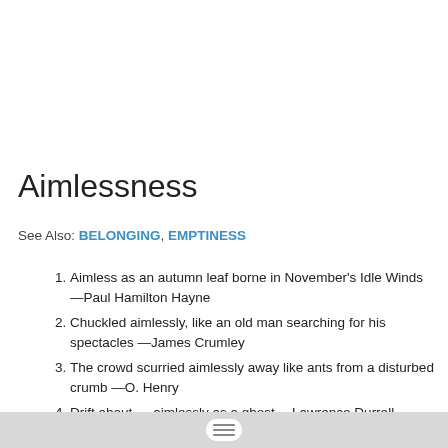Aimlessness
See Also: BELONGING, EMPTINESS
Aimless as an autumn leaf borne in November's Idle Winds —Paul Hamilton Hayne
Chuckled aimlessly, like an old man searching for his spectacles —James Crumley
The crowd scurried aimlessly away like ants from a disturbed crumb —O. Henry
Drift about … aimlessly as a ghost —Lawrence Durrell
Drifted like winter moons —Richard Wilbur